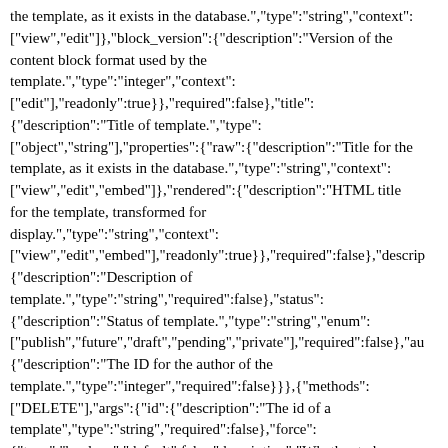the template, as it exists in the database.","type":"string","context":["view","edit"]},"block_version":{"description":"Version of the content block format used by the template.","type":"integer","context":["edit"],"readonly":true}},"required":false},"title":{"description":"Title of template.","type":["object","string"],"properties":{"raw":{"description":"Title for the template, as it exists in the database.","type":"string","context":["view","edit","embed"]},"rendered":{"description":"HTML title for the template, transformed for display.","type":"string","context":["view","edit","embed"],"readonly":true}},"required":false},"descrip{"description":"Description of template.","type":"string","required":false},"status":{"description":"Status of template.","type":"string","enum":["publish","future","draft","pending","private"],"required":false},"au{"description":"The ID for the author of the template.","type":"integer","required":false}}},{"methods":["DELETE"],"args":{"id":{"description":"The id of a template","type":"string","required":false},"force":{"type":"boolean","default":false,"description":"Whether to bypass Trash and force deletion.","required":false}}}]},"\/wp\/v2\/templates\/(? P[\\d]+)\/revisions":{"namespace":"wp\/v2","methods":["GET"],"endpoints":[{"methods":["GET"],"args":{"parent":